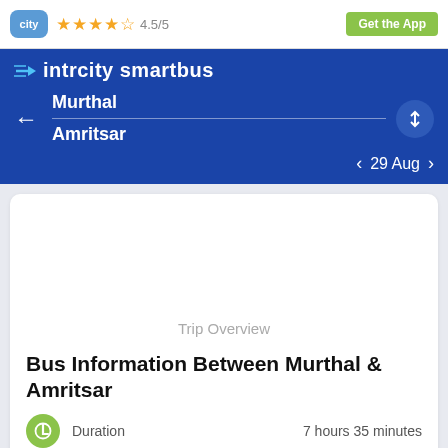city ★★★★☆ 4.5/5  Get the App
intrcity smartbus
Murthal → Amritsar
29 Aug
Trip Overview
Bus Information Between Murthal & Amritsar
Duration  7 hours 35 minutes